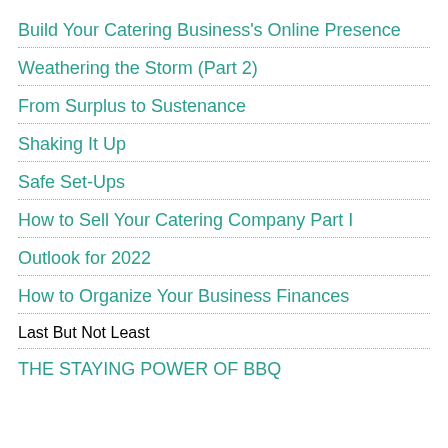Build Your Catering Business's Online Presence
Weathering the Storm (Part 2)
From Surplus to Sustenance
Shaking It Up
Safe Set-Ups
How to Sell Your Catering Company Part I
Outlook for 2022
How to Organize Your Business Finances
Last But Not Least
THE STAYING POWER OF BBQ